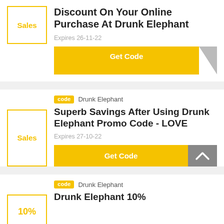[Figure (other): Coupon card 1: Sales badge box, title 'Discount On Your Online Purchase At Drunk Elephant', expires 26-11-22, Get Code button]
[Figure (other): Coupon card 2: code tag, Drunk Elephant, Sales badge box, title 'Superb Savings After Using Drunk Elephant Promo Code - LOVE', expires 27-10-22, Get Code button with scroll-to-top button]
[Figure (other): Coupon card 3 (partial): code tag, Drunk Elephant, 10% badge box, partial title 'Drunk Elephant 10%...']